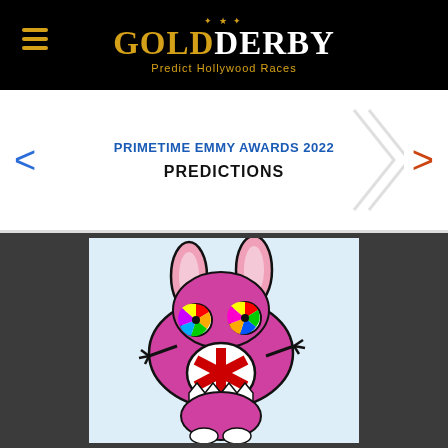GOLDDERBY — Predict Hollywood Races
PRIMETIME EMMY AWARDS 2022
PREDICTIONS
[Figure (illustration): Cartoon illustration of a pink/magenta character with rabbit ears, colorful pinwheel eyes (multi-colored segments), wide open mouth showing a red asterisk/snowflake shape and white teeth, and small stick-like arms, on a light blue background.]